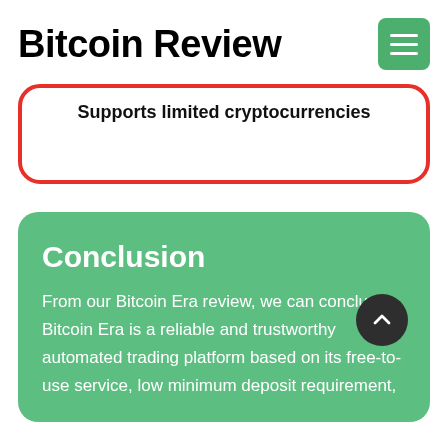Bitcoin Review
Supports limited cryptocurrencies
Conclusion
From our Bitcoin Era review, we can conclude Bitcoin Era is a reliable and trustworthy automated trading platform based on its free-to-use service, low minimum deposit requirement,